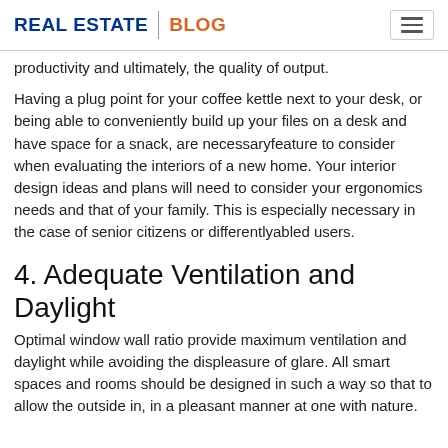REAL ESTATE | BLOG
productivity and ultimately, the quality of output.
Having a plug point for your coffee kettle next to your desk, or being able to conveniently build up your files on a desk and have space for a snack, are necessaryfeature to consider when evaluating the interiors of a new home. Your interior design ideas and plans will need to consider your ergonomics needs and that of your family. This is especially necessary in the case of senior citizens or differentlyabled users.
4. Adequate Ventilation and Daylight
Optimal window wall ratio provide maximum ventilation and daylight while avoiding the displeasure of glare. All smart spaces and rooms should be designed in such a way so that to allow the outside in, in a pleasant manner at one with nature.